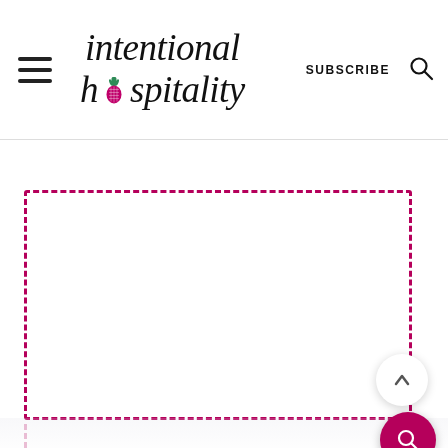intentional hospitality — SUBSCRIBE
[Figure (other): Large dashed magenta/crimson bordered rectangle placeholder area, with a circular scroll-up button (chevron up icon) and a circular pink search FAB button overlapping the right edge]